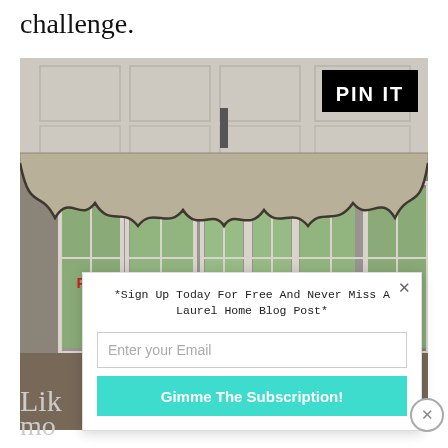challenge.
[Figure (photo): Interior photo of a bay window room with ornate gathered fabric valance/curtains, coffered ceiling, black chandelier, and multiple white-framed windows with green trees visible outside. Red text overlay reads PLEASE DO NOT PIN TO PINTEREST. Black PIN IT button in top right. Powered by SUMO badge overlaid on image.]
*Sign Up Today For Free And Never Miss A Laurel Home Blog Post*
Enter your Email
Gimme The Subscription!
Lik
mo